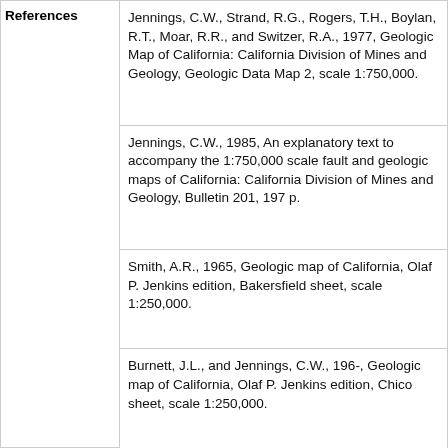| References | Citation |
| --- | --- |
| References | Jennings, C.W., Strand, R.G., Rogers, T.H., Boylan, R.T., Moar, R.R., and Switzer, R.A., 1977, Geologic Map of California: California Division of Mines and Geology, Geologic Data Map 2, scale 1:750,000. |
|  | Jennings, C.W., 1985, An explanatory text to accompany the 1:750,000 scale fault and geologic maps of California: California Division of Mines and Geology, Bulletin 201, 197 p. |
|  | Smith, A.R., 1965, Geologic map of California, Olaf P. Jenkins edition, Bakersfield sheet, scale 1:250,000. |
|  | Burnett, J.L., and Jennings, C.W., 196-, Geologic map of California, Olaf P. Jenkins edition, Chico sheet, scale 1:250,000. |